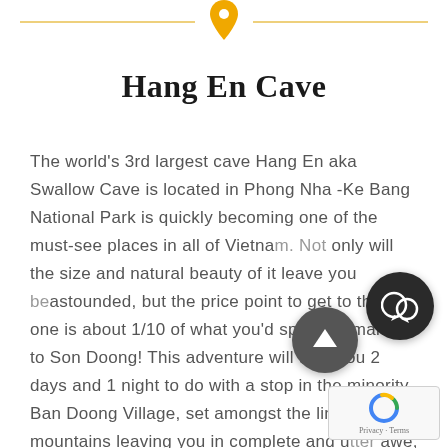[Figure (illustration): Decorative header with horizontal golden lines on either side and a golden map pin icon in the center]
Hang En Cave
The world's 3rd largest cave Hang En aka Swallow Cave is located in Phong Nha -Ke Bang National Park is quickly becoming one of the must-see places in all of Vietnam. Not only will the size and natural beauty of it leave you astounded, but the price point to get to this one is about 1/10 of what you'd spend to make it to Son Doong! This adventure will take you 2 days and 1 night to do with a stop in the minority Ban Doong Village, set amongst the limestone mountains leaving you in complete and utter awe, not to mention you're in the picture-perfect jungle with some of the most skilled porters made up of lo...